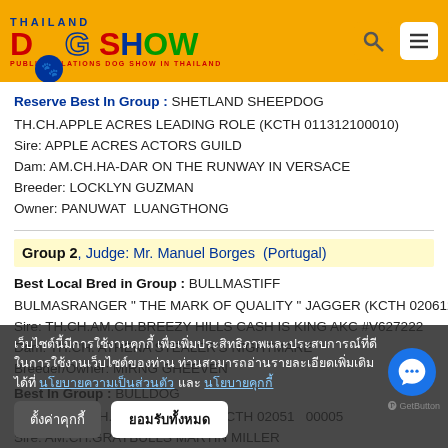THAILAND DOG SHOW - Public Relations Dog Show in Thailand
Reserve Best In Group : SHETLAND SHEEPDOG
TH.CH.APPLE ACRES LEADING ROLE (KCTH 011312100010)
Sire: APPLE ACRES ACTORS GUILD
Dam: AM.CH.HA-DAR ON THE RUNWAY IN VERSACE
Breeder: LOCKLYN GUZMAN
Owner: PANUWAT  LUANGTHONG
Group 2, Judge: Mr. Manuel Borges  (Portugal)
Best Local Bred in Group : BULLMASTIFF
BULMASRANGER " THE MARK OF QUALITY " JAGGER (KCTH 0206121...
Sire: TH.CH.AM.CH.BREEZY HILLS CASH IS KING AKC #V627222
Dam: TH.CH. ATHENA STEALER'S NIGHTMARE
Breeder/Owner: MIRNG GHEEVEN
Best In Group : BULLDOG
AM.GRAND.TH.CH... (KCTH 02051...00005...
Sire: AM.CH.GRAYBULLS MARTIN MILLER
เว็บไซต์นี้มีการใช้งานคุกกี้ เพื่อเพิ่มประสิทธิภาพและประสบการณ์ที่ดีในการใช้งานเว็บไซต์ของท่าน ท่านสามารถอ่านรายละเอียดเพิ่มเติมได้ที่ นโยบายความเป็นส่วนตัว และ นโยบายคุกกี้